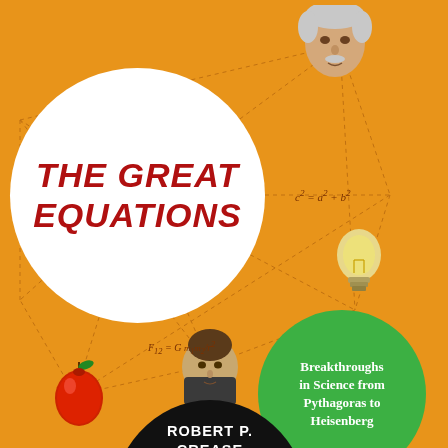[Figure (illustration): Book cover of 'The Great Equations' by Robert P. Crease. Orange background with a network/web of dashed lines connecting circular nodes. A large white circle contains the title in bold red italic text. A green circle contains the subtitle 'Breakthroughs in Science from Pythagoras to Heisenberg'. A black semicircle at the bottom shows the author's name. Decorative elements include a portrait of Einstein at top, a lightbulb, a scientist portrait in the center-bottom area, a red apple at lower left, and mathematical equations written in brown (c²=a²+b² and F₁₂=G·m₁m₂/r²).]
THE GREAT EQUATIONS
Breakthroughs in Science from Pythagoras to Heisenberg
ROBERT P. CREASE